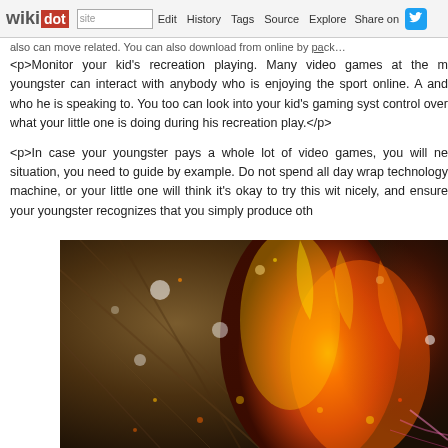wikidot | site Edit History Tags Source Explore Share on [Twitter]
<p>Monitor your kid's recreation playing. Many video games at the m youngster can interact with anybody who is enjoying the sport online. A and who he is speaking to. You too can look into your kid's gaming syst control over what your little one is doing during his recreation play.</p>
<p>In case your youngster pays a whole lot of video games, you will ne situation, you need to guide by example. Do not spend all day wrap technology machine, or your little one will think it's okay to try this wit nicely, and ensure your youngster recognizes that you simply produce oth
[Figure (photo): A dramatic video game screenshot showing a fiery glowing creature or character with orange and red flames against a dark wooden/cave background with glowing particles and embers.]